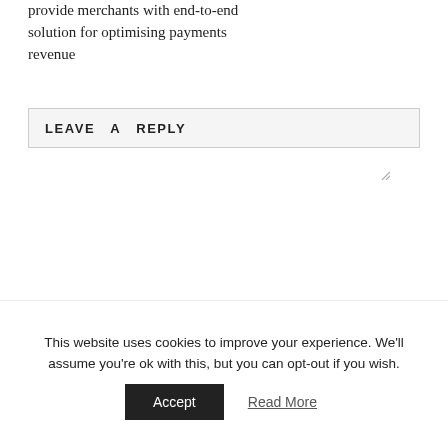provide merchants with end-to-end solution for optimising payments revenue
LEAVE A REPLY
[Figure (screenshot): Comment text area with placeholder text 'Your Comment' and resize handle]
This website uses cookies to improve your experience. We'll assume you're ok with this, but you can opt-out if you wish.
Accept   Read More